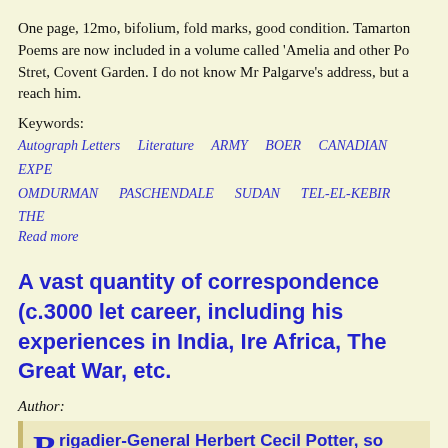One page, 12mo, bifolium, fold marks, good condition. Tamarton Poems are now included in a volume called 'Amelia and other Po Stret, Covent Garden. I do not know Mr Palgarve's address, but a reach him.
Keywords:
Autograph Letters   Literature   ARMY   BOER   CANADIAN   EXPE OMDURMAN   PASCHENDALE   SUDAN   TEL-EL-KEBIR   THE Read more
A vast quantity of correspondence (c.3000 let career, including his experiences in India, Ire Africa, The Great War, etc.
Author:
Brigadier-General Herbert Cecil Potter, so Belfast.